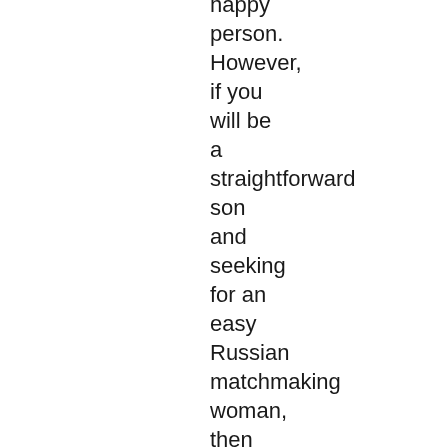happy person. However, if you will be a straightforward son and seeking for an easy Russian matchmaking woman, then wise expenses of your relatives budget is exactly what